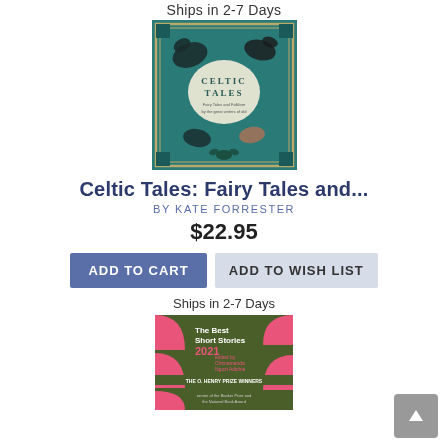Ships in 2-7 Days
[Figure (photo): Book cover: Celtic Tales with teal background, decorative Celtic border, mythical animal illustrations in black and teal]
Celtic Tales: Fairy Tales and...
BY KATE FORRESTER
$22.95
ADD TO CART
ADD TO WISH LIST
Ships in 2-7 Days
[Figure (photo): Book cover: The Best Short Stories 2021, edited by Chimamanda Ngozi Adichie, The O. Henry Prize Winners — green and pink graphic cover design]